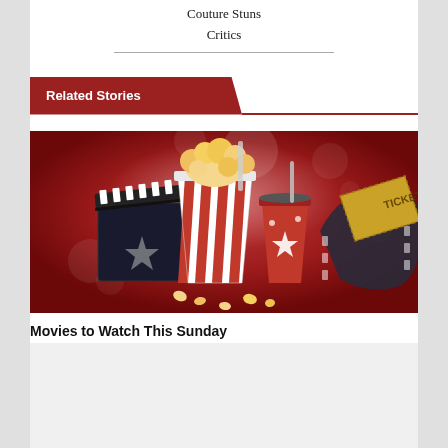Couture Stuns Critics
Related Stories
[Figure (illustration): Movie night themed illustration with a red background. Features a striped red-and-white popcorn bucket, a red drink cup with straw, a film clapperboard, a film reel strip, and a gold ticket. Scattered popcorn pieces visible at the bottom.]
Movies to Watch This Sunday